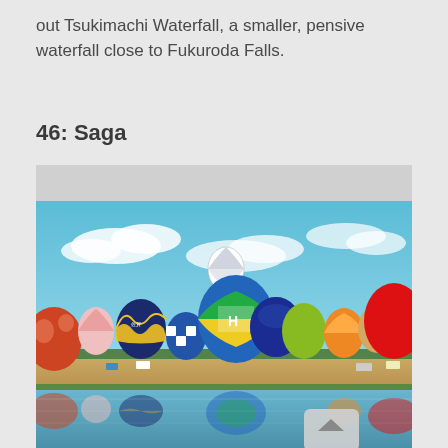out Tsukimachi Waterfall, a smaller, pensive waterfall close to Fukuroda Falls.
46: Saga
[Figure (photo): Hot air balloon festival with many colorful balloons on a field, reflected in water below. Bright blue sky with clouds. Multiple large balloons in various colors and patterns including a red mushroom-spotted balloon on the right, blue and yellow geometric balloons, and one balloon aloft in the sky. A scroll-to-top button is visible in the lower right.]